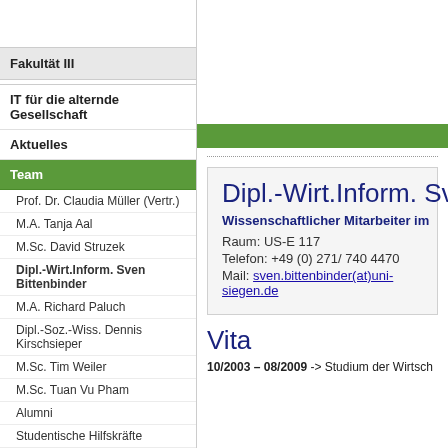Fakultät III
IT für die alternde Gesellschaft
Aktuelles
Team
Prof. Dr. Claudia Müller (Vertr.)
M.A. Tanja Aal
M.Sc. David Struzek
Dipl.-Wirt.Inform. Sven Bittenbinder
M.A. Richard Paluch
Dipl.-Soz.-Wiss. Dennis Kirschsieper
M.Sc. Tim Weiler
M.Sc. Tuan Vu Pham
Alumni
Studentische Hilfskräfte
Dipl.-Wirt.Inform. Sven
Wissenschaftlicher Mitarbeiter im
Raum: US-E 117
Telefon: +49 (0) 271/ 740 4470
Mail: sven.bittenbinder(at)uni-siegen.de
Vita
10/2003 – 08/2009 -> Studium der Wirtsch